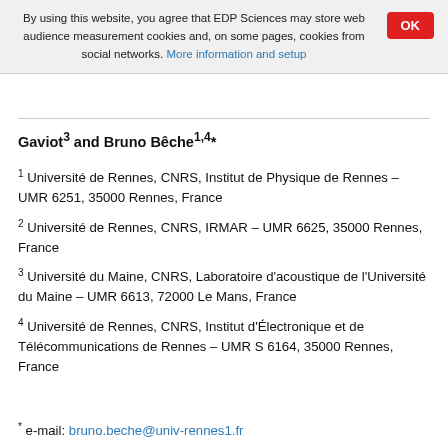By using this website, you agree that EDP Sciences may store web audience measurement cookies and, on some pages, cookies from social networks. More information and setup
Gaviot³ and Bruno Bêche¹·⁴*
¹ Université de Rennes, CNRS, Institut de Physique de Rennes – UMR 6251, 35000 Rennes, France
² Université de Rennes, CNRS, IRMAR – UMR 6625, 35000 Rennes, France
³ Université du Maine, CNRS, Laboratoire d'acoustique de l'Université du Maine – UMR 6613, 72000 Le Mans, France
⁴ Université de Rennes, CNRS, Institut d'Électronique et de Télécommunications de Rennes – UMR S 6164, 35000 Rennes, France
* e-mail: bruno.beche@univ-rennes1.fr